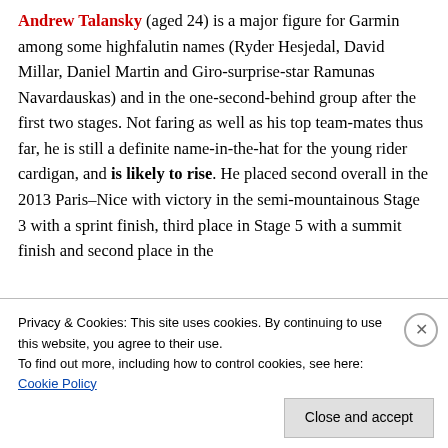Andrew Talansky (aged 24) is a major figure for Garmin among some highfalutin names (Ryder Hesjedal, David Millar, Daniel Martin and Giro-surprise-star Ramunas Navardauskas) and in the one-second-behind group after the first two stages. Not faring as well as his top team-mates thus far, he is still a definite name-in-the-hat for the young rider cardigan, and is likely to rise. He placed second overall in the 2013 Paris–Nice with victory in the semi-mountainous Stage 3 with a sprint finish, third place in Stage 5 with a summit finish and second place in the
Privacy & Cookies: This site uses cookies. By continuing to use this website, you agree to their use.
To find out more, including how to control cookies, see here: Cookie Policy
Close and accept